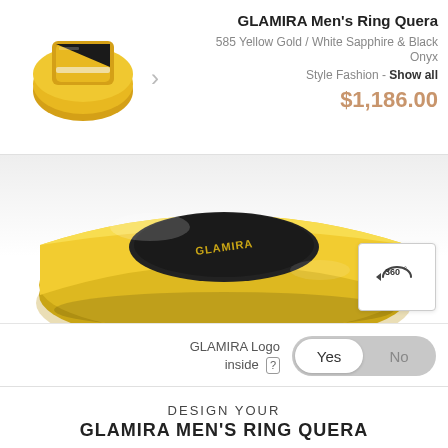[Figure (photo): Small thumbnail of GLAMIRA Men's Ring Quera in yellow gold with black onyx and white sapphire]
GLAMIRA Men's Ring Quera
585 Yellow Gold / White Sapphire & Black Onyx
Style Fashion - Show all
$1,186.00
[Figure (photo): Large 3D render of GLAMIRA Men's Ring Quera showing the inside with GLAMIRA logo engraved, yellow gold band]
360°
GLAMIRA Logo inside [?]
Yes  No
DESIGN YOUR GLAMIRA MEN'S RING QUERA
CENTER STONE [?]